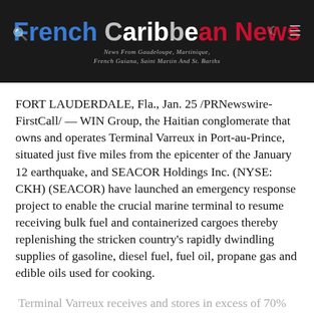French Caribbean News — News From Guadeloupe, Martinique, French Guiana, Saint Martin And St. Barths
FORT LAUDERDALE, Fla., Jan. 25 /PRNewswire-FirstCall/ — WIN Group, the Haitian conglomerate that owns and operates Terminal Varreux in Port-au-Prince, situated just five miles from the epicenter of the January 12 earthquake, and SEACOR Holdings Inc. (NYSE: CKH) (SEACOR) have launched an emergency response project to enable the crucial marine terminal to resume receiving bulk fuel and containerized cargoes thereby replenishing the stricken country's rapidly dwindling supplies of gasoline, diesel fuel, fuel oil, propane gas and edible oils used for cooking.
Terminal Varreux receives and stores in excess of 70% of Haiti's fuel oil used for power plants, gasoline and diesel